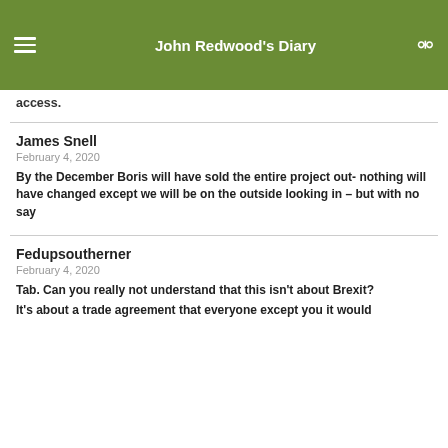John Redwood's Diary
access.
James Snell
February 4, 2020

By the December Boris will have sold the entire project out- nothing will have changed except we will be on the outside looking in – but with no say
Fedupsoutherner
February 4, 2020

Tab. Can you really not understand that this isn't about Brexit? It's about a trade agreement that everyone except you it would